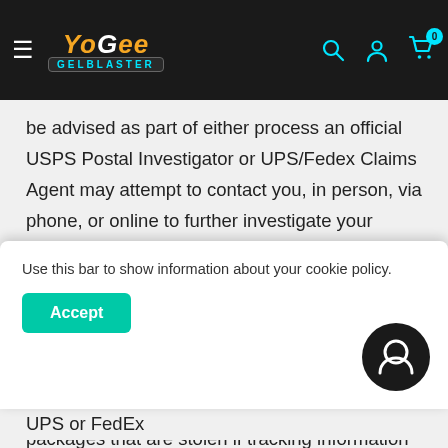YoGee GelBlaster navigation bar with logo, search, account, and cart icons
be advised as part of either process an official USPS Postal Investigator or UPS/Fedex Claims Agent may attempt to contact you, in person, via phone, or online to further investigate your claims. If you believe you were the victim of mail theft and have filed a police report please send us the Police Report Number so we can include it in the USPS theft investigation. Lastly, while we understand that mail theft is an issue in some areas, we cannot be held responsible for packages that are stolen if tracking information states the
Use this bar to show information about your cookie policy.
Accept
delivered to secure pickup locations such as a UPS or FedEx